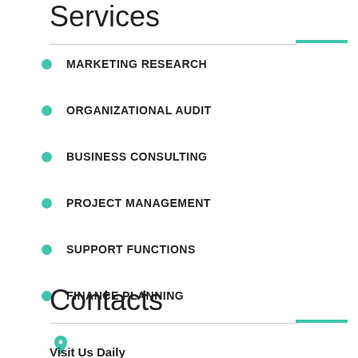Services
MARKETING RESEARCH
ORGANIZATIONAL AUDIT
BUSINESS CONSULTING
PROJECT MANAGEMENT
SUPPORT FUNCTIONS
FINANCE PLANNING
Contacts
Visit Us Daily